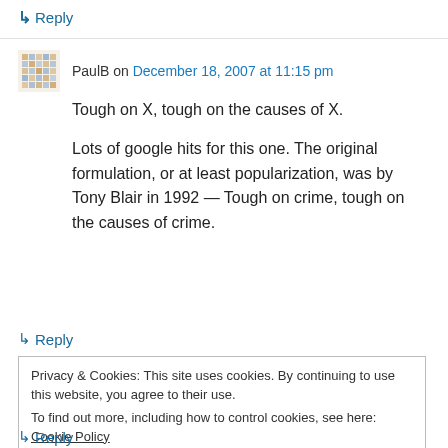↳ Reply
PaulB on December 18, 2007 at 11:15 pm
Tough on X, tough on the causes of X.
Lots of google hits for this one. The original formulation, or at least popularization, was by Tony Blair in 1992 — Tough on crime, tough on the causes of crime.
↳ Reply
Privacy & Cookies: This site uses cookies. By continuing to use this website, you agree to their use. To find out more, including how to control cookies, see here: Cookie Policy
↳ Reply